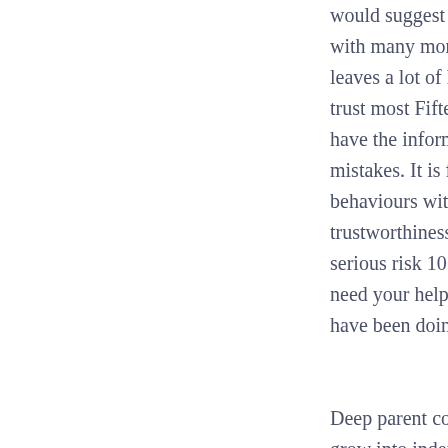would suggest abo with many more re leaves a lot of Fifte trust most Fifteens have the informati mistakes. It is far r behaviours with Fi trustworthiness, o serious risk 10 to 1 need your help. W have been doing i

Deep parent comm grow into indepen asked by a mothe The advice given v own addictive beh their behaviour an lromote controll o